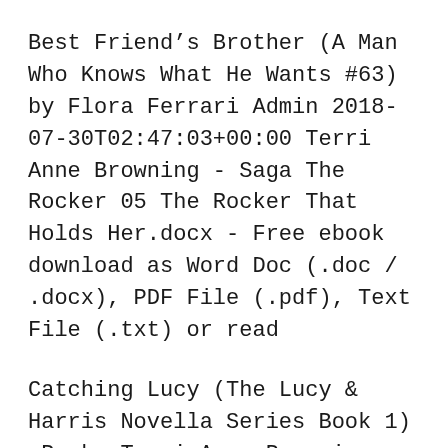Best Friend's Brother (A Man Who Knows What He Wants #63) by Flora Ferrari Admin 2018-07-30T02:47:03+00:00 Terri Anne Browning - Saga The Rocker 05 The Rocker That Holds Her.docx - Free ebook download as Word Doc (.doc / .docx), PDF File (.pdf), Text File (.txt) or read
Catching Lucy (The Lucy & Harris Novella Series Book 1) eBook: Terri Anne Browning, Lorelei Logsdon, Sara Eirew: Amazon.com.au: Kindle Store Download Terri Anne Browning Torrent at TorrentFunk. We have 18 Terri Anne Browning Other torrents for you!
Download: Un-Shattering Lucy Ebook Free (PDF...